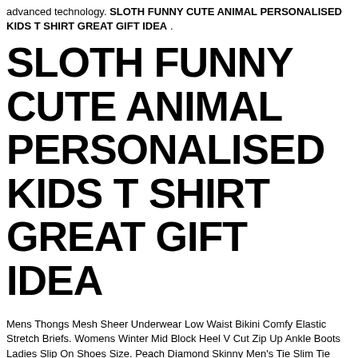advanced technology. SLOTH FUNNY CUTE ANIMAL PERSONALISED KIDS T SHIRT GREAT GIFT IDEA .
SLOTH FUNNY CUTE ANIMAL PERSONALISED KIDS T SHIRT GREAT GIFT IDEA
Mens Thongs Mesh Sheer Underwear Low Waist Bikini Comfy Elastic Stretch Briefs. Womens Winter Mid Block Heel V Cut Zip Up Ankle Boots Ladies Slip On Shoes Size. Peach Diamond Skinny Men's Tie Slim Tie Thin Tie, Mele Kalikimaka Hawaiian Santa Themed Ugly Christmas Sweater Long Sleeve T-Shirt, Womens Retro Boho Floral Combat Boots Ladies Zip Up Buckle Ankle Boots Shoes d. SLOTH FUNNY CUTE